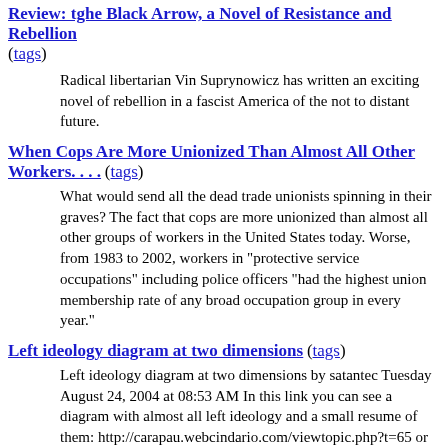Review: tghe Black Arrow, a Novel of Resistance and Rebellion (tags)
Radical libertarian Vin Suprynowicz has written an exciting novel of rebellion in a fascist America of the not to distant future.
When Cops Are More Unionized Than Almost All Other Workers. . . . (tags)
What would send all the dead trade unionists spinning in their graves? The fact that cops are more unionized than almost all other groups of workers in the United States today. Worse, from 1983 to 2002, workers in "protective service occupations" including police officers "had the highest union membership rate of any broad occupation group in every year."
Left ideology diagram at two dimensions (tags)
Left ideology diagram at two dimensions by satantec Tuesday August 24, 2004 at 08:53 AM In this link you can see a diagram with almost all left ideology and a small resume of them: http://carapau.webcindario.com/viewtopic.php?t=65 or else www.carapau.pt.vu In this link you can see a